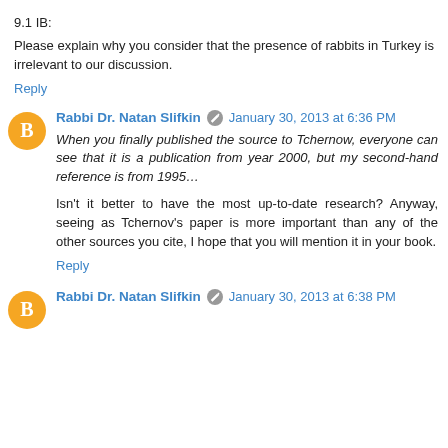9.1 IB:
Please explain why you consider that the presence of rabbits in Turkey is irrelevant to our discussion.
Reply
Rabbi Dr. Natan Slifkin · January 30, 2013 at 6:36 PM
When you finally published the source to Tchernow, everyone can see that it is a publication from year 2000, but my second-hand reference is from 1995…
Isn't it better to have the most up-to-date research? Anyway, seeing as Tchernov's paper is more important than any of the other sources you cite, I hope that you will mention it in your book.
Reply
Rabbi Dr. Natan Slifkin · January 30, 2013 at 6:38 PM